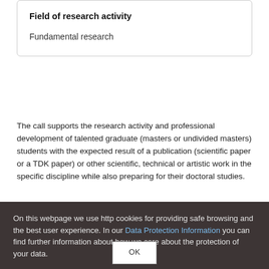Field of research activity
Fundamental research
The call supports the research activity and professional development of talented graduate (masters or undivided masters) students with the expected result of a publication (scientific paper or a TDK paper) or other scientific, technical or artistic work in the specific discipline while also preparing for their doctoral studies.
On this webpage we use http cookies for providing safe browsing and the best user experience. In our Data Protection Information you can find further information about how we care about the protection of your data.
OK